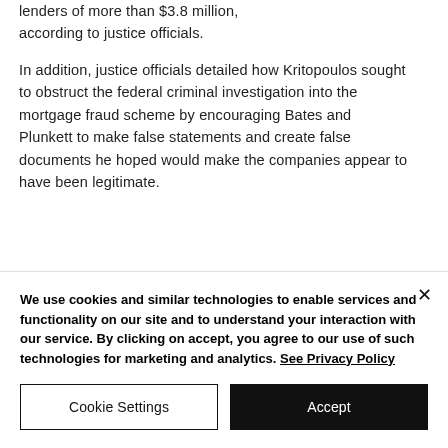lenders of more than $3.8 million, according to justice officials.
In addition, justice officials detailed how Kritopoulos sought to obstruct the federal criminal investigation into the mortgage fraud scheme by encouraging Bates and Plunkett to make false statements and create false documents he hoped would make the companies appear to have been legitimate.
We use cookies and similar technologies to enable services and functionality on our site and to understand your interaction with our service. By clicking on accept, you agree to our use of such technologies for marketing and analytics. See Privacy Policy